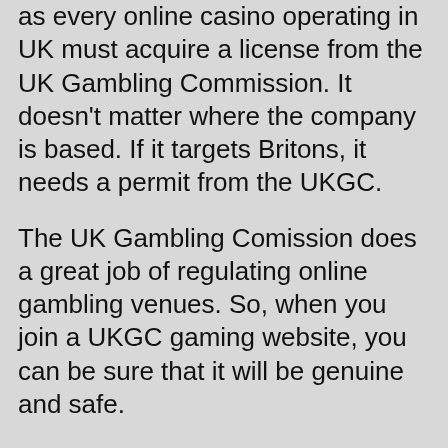as every online casino operating in UK must acquire a license from the UK Gambling Commission. It doesn't matter where the company is based. If it targets Britons, it needs a permit from the UKGC.
The UK Gambling Comission does a great job of regulating online gambling venues. So, when you join a UKGC gaming website, you can be sure that it will be genuine and safe.
All of the casinos regulated by the UKGC publish their license number at the bottom of their sites. They also include a link you can click to visit the UKGC webpage to confirm the casino is safe.
As Bingorella Casino is licensed by the UKGC, you can rest assure that it is as safe as it gets.
Casino Games